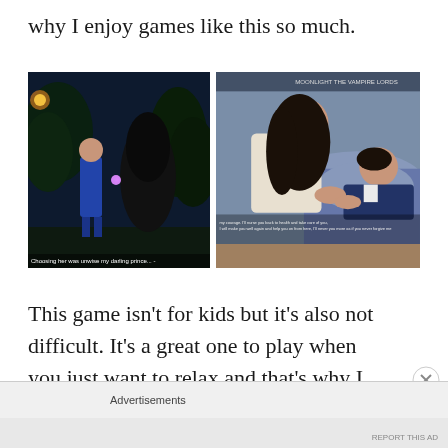why I enjoy games like this so much.
[Figure (illustration): Two game screenshots side by side. Left: fantasy scene with two characters facing each other outdoors at night with a glowing orb, caption reads 'Choosing her was unwise my darling prince...'. Right: romance scene with a dark-haired woman tending to a man lying in bed, with subtitle text overlaid.]
This game isn't for kids but it's also not difficult. It's a great one to play when you just want to relax and that's why I think it's the perfect choice for most of us right now. I
Advertisements